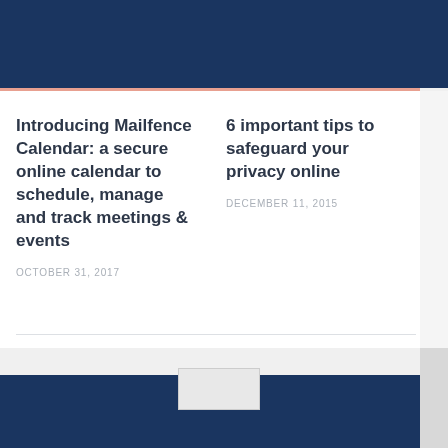Introducing Mailfence Calendar: a secure online calendar to schedule, manage and track meetings & events
OCTOBER 31, 2017
6 important tips to safeguard your privacy online
DECEMBER 11, 2015